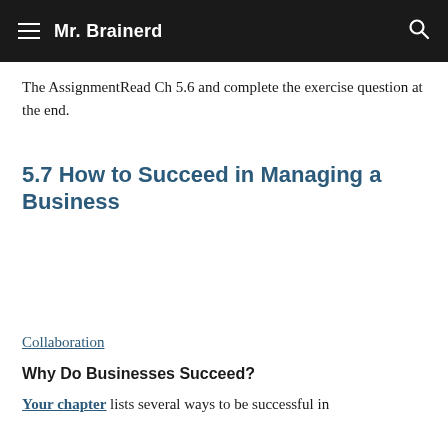Mr. Brainerd
The AssignmentRead Ch 5.6 and complete the exercise question at the end.
5.7 How to Succeed in Managing a Business
Collaboration
Why Do Businesses Succeed?
Your chapter lists several ways to be successful in